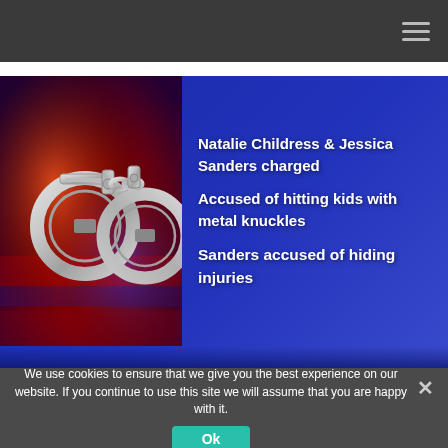[Figure (screenshot): Navigation bar with hamburger menu icon on dark gray background]
[Figure (photo): News broadcast screenshot showing handcuffs photo on left with dark blue background and white bold text: 'Natalie Childress & Jessica Sanders charged / Accused of hitting kids with metal knuckles / Sanders accused of hiding injuries']
We use cookies to ensure that we give you the best experience on our website. If you continue to use this site we will assume that you are happy with it.